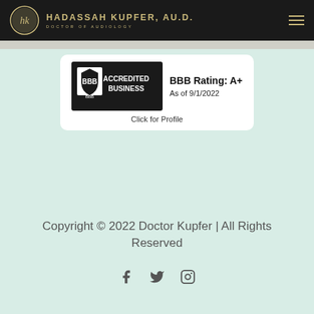HADASSAH KUPFER, AU.D. DOCTOR OF AUDIOLOGY
[Figure (logo): BBB Accredited Business badge with BBB Rating: A+ As of 9/1/2022, Click for Profile]
Copyright © 2022 Doctor Kupfer | All Rights Reserved
[Figure (other): Social media icons: Facebook, Twitter, Instagram]